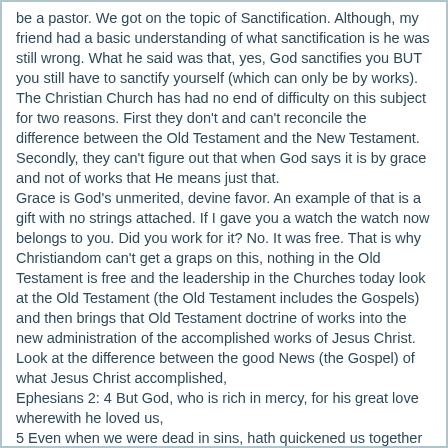be a pastor. We got on the topic of Sanctification. Although, my friend had a basic understanding of what sanctification is he was still wrong. What he said was that, yes, God sanctifies you BUT you still have to sanctify yourself (which can only be by works).
The Christian Church has had no end of difficulty on this subject for two reasons. First they don't and can't reconcile the difference between the Old Testament and the New Testament. Secondly, they can't figure out that when God says it is by grace and not of works that He means just that.
Grace is God's unmerited, devine favor. An example of that is a gift with no strings attached. If I gave you a watch the watch now belongs to you. Did you work for it? No. It was free. That is why Christiandom can't get a graps on this, nothing in the Old Testament is free and the leadership in the Churches today look at the Old Testament (the Old Testament includes the Gospels) and then brings that Old Testament doctrine of works into the new administration of the accomplished works of Jesus Christ.
Look at the difference between the good News (the Gospel) of what Jesus Christ accomplished,
Ephesians 2: 4 But God, who is rich in mercy, for his great love wherewith he loved us,
5 Even when we were dead in sins, hath quickened us together with Christ, (by grace ye are saved;)
6 And hath raised us up together, and made us sit together in heavenly places in Christ Jesus:
7 That in the ages to come he might show the exceeding riches of his grace in his kindness toward us through Christ Jesus.
8 For by grace are ye saved through faith; and that not of yourselves: it is the gift of God:
9 Not of works, lest any man should boast.
and the Old Testament law,